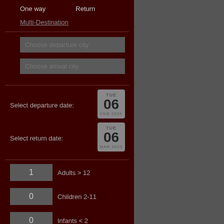One way    Return
Multi-Destination
Choose departure city
Choose arrival city
Select departure date:
TUE 06
Select return date:
TUE 06
1   Adults > 12
0   Children 2-11
0   Infants < 2
NOTE: All prices are subject to change. In case you choose to